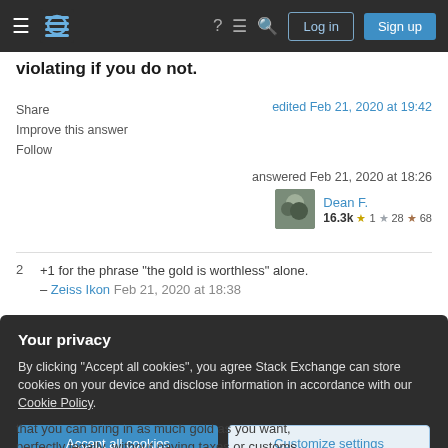Stack Exchange — Log in | Sign up
violating if you do not.
Share
Improve this answer
Follow
edited Feb 21, 2020 at 19:42
answered Feb 21, 2020 at 18:26
Dean F.
16.3k ★1 ☆28 ✦68
+1 for the phrase "the gold is worthless" alone.
– Zeiss Ikon Feb 21, 2020 at 18:38
Your privacy
By clicking "Accept all cookies", you agree Stack Exchange can store cookies on your device and disclose information in accordance with our Cookie Policy.
Accept all cookies   Customize settings
that you can bring in as much gold as you want, perfectly legally, without paying taxes or customs